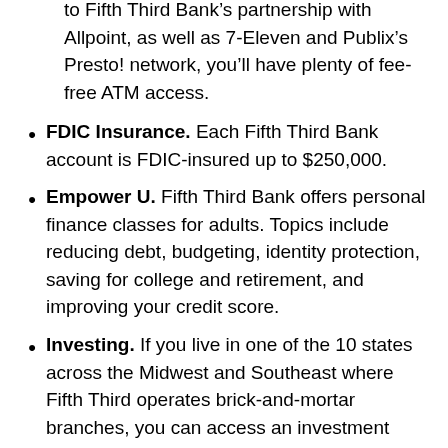to Fifth Third Bank's partnership with Allpoint, as well as 7-Eleven and Publix's Presto! network, you'll have plenty of fee-free ATM access.
FDIC Insurance. Each Fifth Third Bank account is FDIC-insured up to $250,000.
Empower U. Fifth Third Bank offers personal finance classes for adults. Topics include reducing debt, budgeting, identity protection, saving for college and retirement, and improving your credit score.
Investing. If you live in one of the 10 states across the Midwest and Southeast where Fifth Third operates brick-and-mortar branches, you can access an investment advisor to trade stocks, bonds, ETFs, mutual funds, and annuities.
Life360. Fifth Third Bank offers this online financial planning platform to customers looking for a holistic